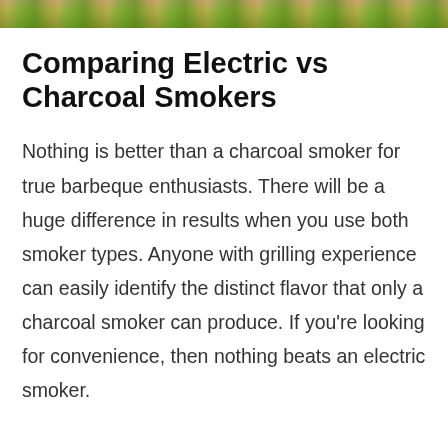[Figure (photo): Partial photo strip at top of page showing outdoor scene with sandy/earthy ground and green foliage/grass]
Comparing Electric vs Charcoal Smokers
Nothing is better than a charcoal smoker for true barbeque enthusiasts. There will be a huge difference in results when you use both smoker types. Anyone with grilling experience can easily identify the distinct flavor that only a charcoal smoker can produce. If you're looking for convenience, then nothing beats an electric smoker.